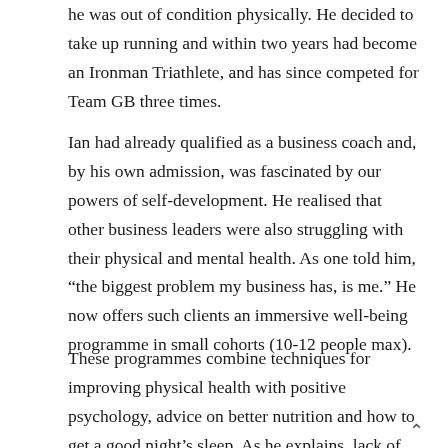he was out of condition physically. He decided to take up running and within two years had become an Ironman Triathlete, and has since competed for Team GB three times.
Ian had already qualified as a business coach and, by his own admission, was fascinated by our powers of self-development. He realised that other business leaders were also struggling with their physical and mental health. As one told him, “the biggest problem my business has, is me.” He now offers such clients an immersive well-being programme in small cohorts (10-12 people max).
These programmes combine techniques for improving physical health with positive psychology, advice on better nutrition and how to get a good night’s sleep. As he explains, lack of sleep and water can lead to cognitive impairment and low energy, which in turn can make us crave sugary foods. However, Ian says one of the biggest problems people face is not so much managing themselves, as managing other